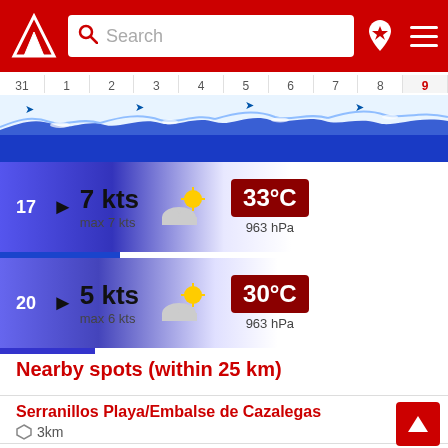[Figure (screenshot): App navigation bar with red background, logo, search box, pin icon and hamburger menu]
31 1 2 3 4 5 6 7 8 9
[Figure (infographic): Wave and wind forecast strip with animated wave graphics and date numbers]
17  7 kts  max 7 kts  33°C  963 hPa
20  5 kts  max 6 kts  30°C  963 hPa
Nearby spots (within 25 km)
Serranillos Playa/Embalse de Cazalegas
3km
Castillo de Bayuela